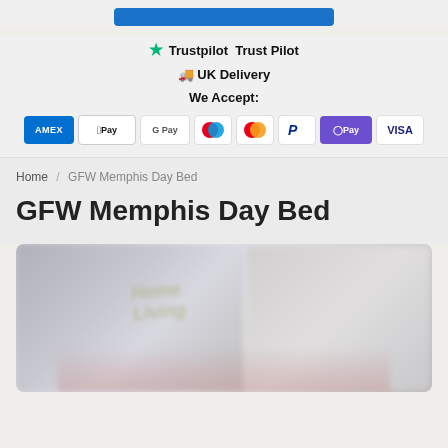[Figure (logo): Blue button bar at top]
★ Trustpilot  Trust Pilot
🚚 UK Delivery
We Accept:
[Figure (infographic): Payment method icons: AMEX, Apple Pay, Google Pay, Maestro, Mastercard, PayPal, OPay, VISA]
Home / GFW Memphis Day Bed
GFW Memphis Day Bed
[Figure (photo): Blurred product photo of GFW Memphis Day Bed]